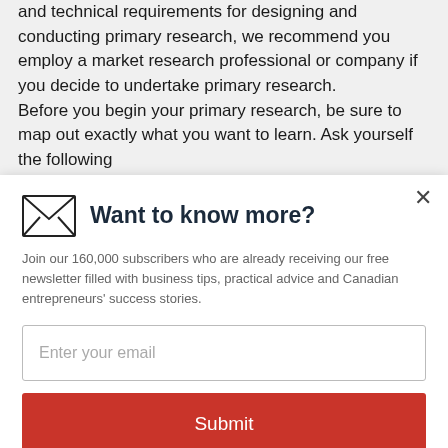and technical requirements for designing and conducting primary research, we recommend you employ a market research professional or company if you decide to undertake primary research.
Before you begin your primary research, be sure to map out exactly what you want to learn. Ask yourself the following
Want to know more?
Join our 160,000 subscribers who are already receiving our free newsletter filled with business tips, practical advice and Canadian entrepreneurs' success stories.
Enter your email
Submit